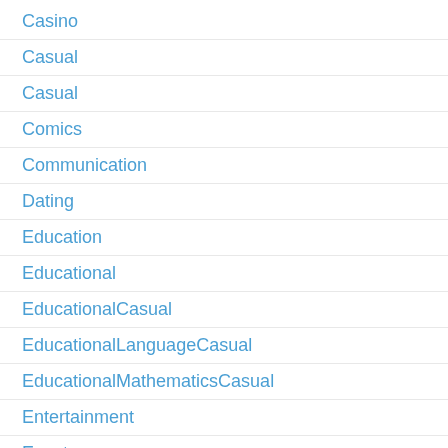Casino
Casual
Casual
Comics
Communication
Dating
Education
Educational
EducationalCasual
EducationalLanguageCasual
EducationalMathematicsCasual
Entertainment
Events
Finance
Food & Drink